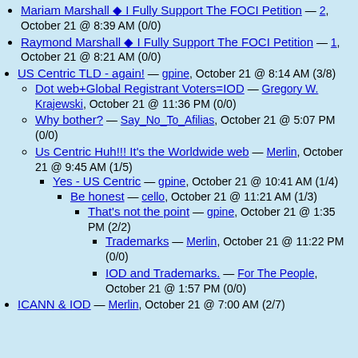Mariam Marshall ◆ I Fully Support The FOCI Petition — 2, October 21 @ 8:39 AM (0/0)
Raymond Marshall ◆ I Fully Support The FOCI Petition — 1, October 21 @ 8:21 AM (0/0)
US Centric TLD - again! — gpine, October 21 @ 8:14 AM (3/8)
Dot web+Global Registrant Voters=IOD — Gregory W. Krajewski, October 21 @ 11:36 PM (0/0)
Why bother? — Say_No_To_Afilias, October 21 @ 5:07 PM (0/0)
Us Centric Huh!!! It's the Worldwide web — Merlin, October 21 @ 9:45 AM (1/5)
Yes - US Centric — gpine, October 21 @ 10:41 AM (1/4)
Be honest — cello, October 21 @ 11:21 AM (1/3)
That's not the point — gpine, October 21 @ 1:35 PM (2/2)
Trademarks — Merlin, October 21 @ 11:22 PM (0/0)
IOD and Trademarks. — For The People, October 21 @ 1:57 PM (0/0)
ICANN & IOD — Merlin, October 21 @ 7:00 AM (2/7)